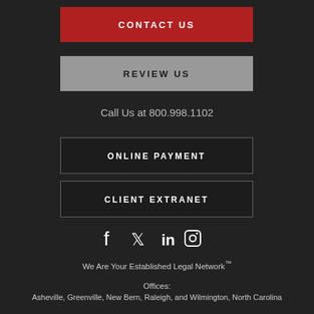CONTACT US
REVIEW US
Call Us at 800.998.1102
ONLINE PAYMENT
CLIENT EXTRANET
[Figure (infographic): Social media icons: Facebook, Twitter, LinkedIn, Instagram]
We Are Your Established Legal Network™
Offices:
Asheville, Greenville, New Bern, Raleigh, and Wilmington, North Carolina